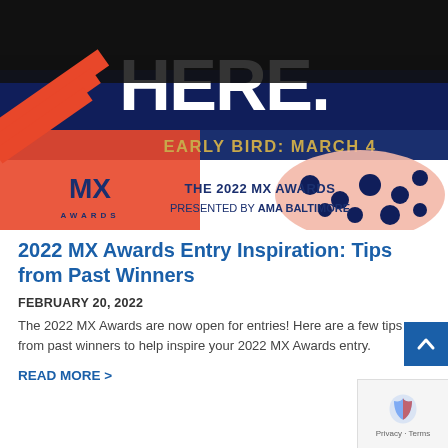[Figure (illustration): Banner image for 2022 MX Awards. Features bold brushstroke design in black, blue/navy, and coral/red. Large white text reads 'HERE.' with gold text below: 'EARLY BIRD: MARCH 4'. Bottom section shows MX AWARDS logo on left and text 'THE 2022 MX AWARDS PRESENTED BY AMA BALTIMORE' on right.]
2022 MX Awards Entry Inspiration: Tips from Past Winners
FEBRUARY 20, 2022
The 2022 MX Awards are now open for entries! Here are a few tips from past winners to help inspire your 2022 MX Awards entry.
READ MORE >